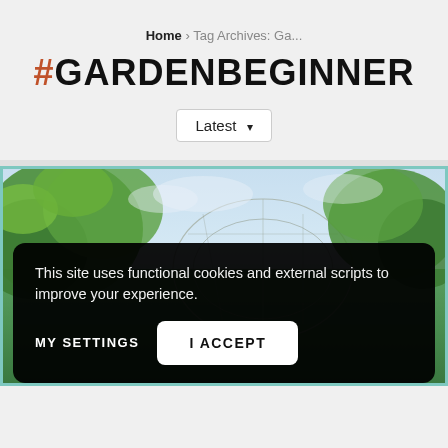Home › Tag Archives: Ga...
#GARDENBEGINNER
Latest ▾
[Figure (photo): Outdoor garden scene showing green leafy plants and a wire mesh dome structure against a light sky background]
This site uses functional cookies and external scripts to improve your experience.
MY SETTINGS   I ACCEPT